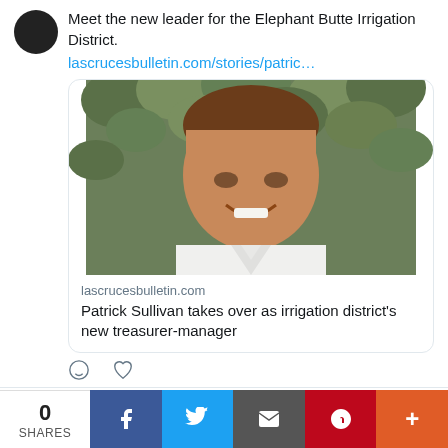Meet the new leader for the Elephant Butte Irrigation District.
lascrucesbulletin.com/stories/patric…
[Figure (photo): Portrait photo of Patrick Sullivan, a middle-aged man in a white shirt, smiling, with green foliage in the background.]
lascrucesbulletin.com
Patrick Sullivan takes over as irrigation district's new treasurer-manager
Las Cruces Bull... @LCBul... · Jun 24
0 SHARES | Facebook | Twitter | Email | Pinterest | More